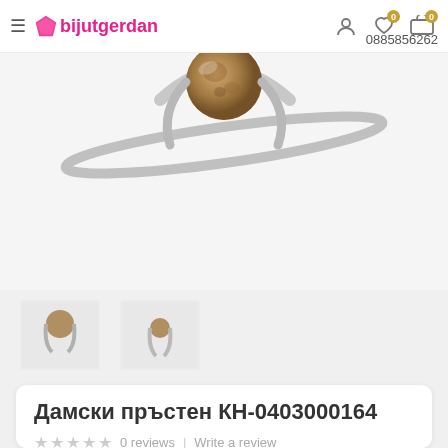bijutgerdan — 0885856262
[Figure (photo): Close-up product photo of a silver ladies ring with a brown/amber stone, shown on a white background. Two smaller thumbnail images below show the same ring from different angles.]
Дамски пръстен КН-0403000164
★★★★★ 0 reviews | Write a review
14.00лв.